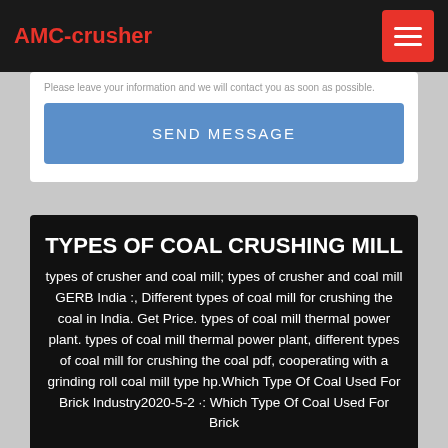AMC-crusher
[Figure (screenshot): Partial view of a form with a 'SEND MESSAGE' button in blue]
TYPES OF COAL CRUSHING MILL
types of crusher and coal mill; types of crusher and coal mill GERB India :, Different types of coal mill for crushing the coal in India. Get Price. types of coal mill thermal power plant. types of coal mill thermal power plant, different types of coal mill for crushing the coal pdf, cooperating with a grinding roll coal mill type hp.Which Type Of Coal Used For Brick Industry2020-5-2 ·: Which Type Of Coal Used For Brick